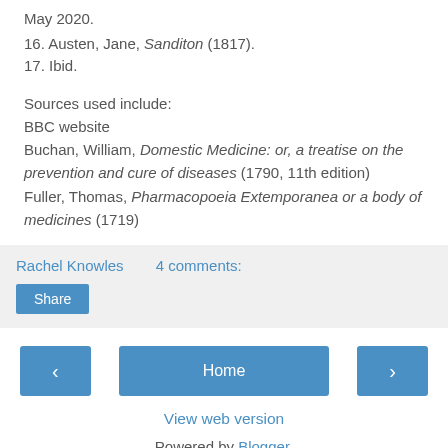May 2020.
16. Austen, Jane, Sanditon (1817).
17. Ibid.
Sources used include:
BBC website
Buchan, William, Domestic Medicine: or, a treatise on the prevention and cure of diseases (1790, 11th edition)
Fuller, Thomas, Pharmacopoeia Extemporanea or a body of medicines (1719)
Rachel Knowles    4 comments:
Share
Home
View web version
Powered by Blogger.